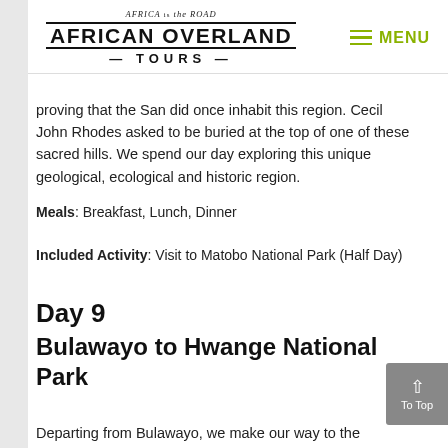AFRICA is the ROAD — AFRICAN OVERLAND TOURS — MENU
proving that the San did once inhabit this region. Cecil John Rhodes asked to be buried at the top of one of these sacred hills. We spend our day exploring this unique geological, ecological and historic region.
Meals: Breakfast, Lunch, Dinner
Included Activity: Visit to Matobo National Park (Half Day)
Day 9
Bulawayo to Hwange National Park
Departing from Bulawayo, we make our way to the